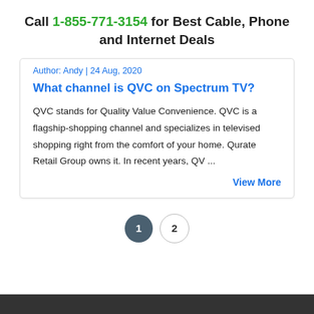Call 1-855-771-3154 for Best Cable, Phone and Internet Deals
Author: Andy | 24 Aug, 2020
What channel is QVC on Spectrum TV?
QVC stands for Quality Value Convenience. QVC is a flagship-shopping channel and specializes in televised shopping right from the comfort of your home. Qurate Retail Group owns it. In recent years, QV ...
View More
1  2